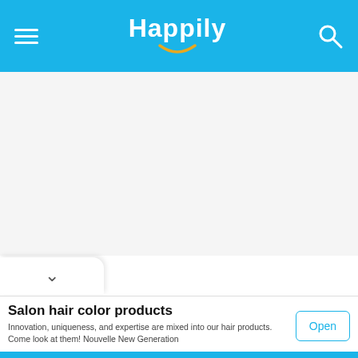Happily
[Figure (screenshot): White blank content area below the navigation bar]
▾
Salon hair color products
Innovation, uniqueness, and expertise are mixed into our hair products. Come look at them! Nouvelle New Generation
Open